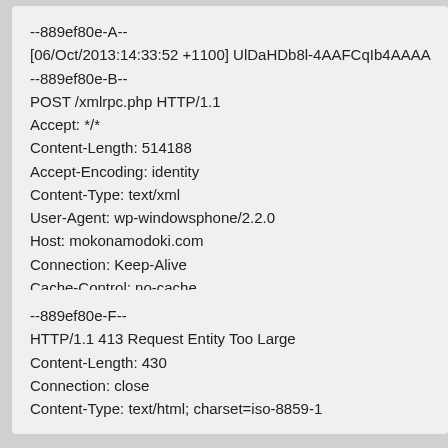--889ef80e-A--
[06/Oct/2013:14:33:52 +1100] UlDaHDb8l-4AAFCqIb4AAAA
--889ef80e-B--
POST /xmlrpc.php HTTP/1.1
Accept: */*
Content-Length: 514188
Accept-Encoding: identity
Content-Type: text/xml
User-Agent: wp-windowsphone/2.2.0
Host: mokonamodoki.com
Connection: Keep-Alive
Cache-Control: no-cache
--889ef80e-F--
HTTP/1.1 413 Request Entity Too Large
Content-Length: 430
Connection: close
Content-Type: text/html; charset=iso-8859-1